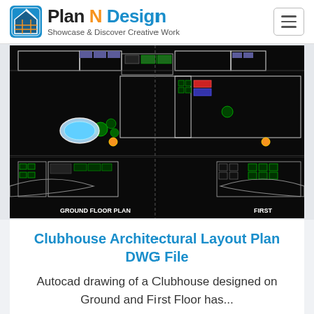Plan N Design — Showcase & Discover Creative Work
[Figure (engineering-diagram): AutoCAD architectural floor plan showing a Clubhouse Ground Floor Plan (left side) and First Floor Plan (right side). Black background with white, green, blue, and orange line drawings showing rooms, pools, landscaping, and furniture layouts.]
Clubhouse Architectural Layout Plan DWG File
Autocad drawing of a Clubhouse designed on Ground and First Floor has...